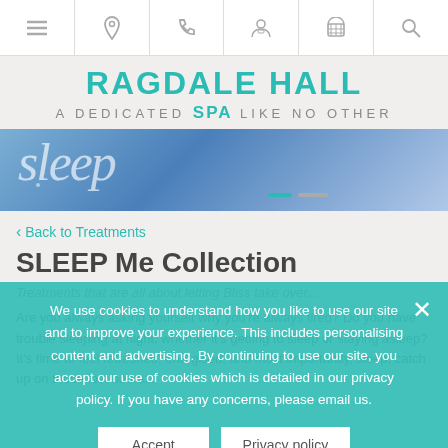Navigation bar with menu, location, phone, account, cart, search icons
RAGDALE HALL SPA — a dedicated SPA like no other
[Figure (photo): Hero image with blue/purple background and cursive script text, with teal and gray indicator dots]
< Back to Treatments
SLEEP Me Collection
Treatments that are all about letting Bliss take over...
Are you always asking yourself why you're always tired? Do you have trouble sleeping at night, whether it's getting to sleep or staying asleep? It's time to feel refreshed, energised, and most importantly, sleep, catch up on those lost...
We use cookies to understand how you like to use our site and to improve your experience. This includes personalising content and advertising. By continuing to use our site, you accept our use of cookies which is detailed in our privacy policy. If you have any concerns, please email us.
Accept | Privacy policy